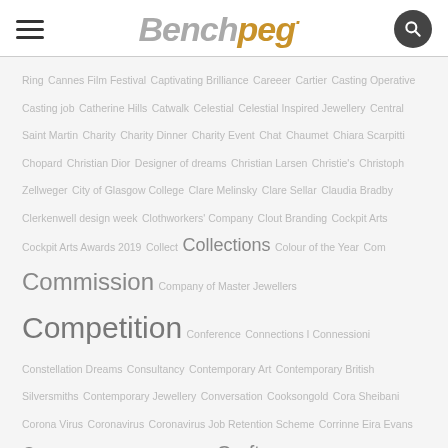Benchpeg
Ring  Cannes Film Festival  Captivating Brilliance  Careeer  Cartier  Casting Operative  Casting job  Catherine Hills  Catwalk  Celestial  Celestial Inspired Jewellery  Central Saint Martin  Charity  Charity Dinner  Charity Event  Chat  Chaumet  Chiara Scarpitti  Chopard  Christian Dior  Designer of dreams  Christian Larsen  Christie's  Christoph Zellweger  City of Glasgow College  Clare Melinsky  Clare Sellar  Claudia Bradby  Clerkenwell design week  Clothworkers' Company  Clout Branding  Cockpit Arts  Cockpit Arts Awards 2019  Collect  Collections  Colour of the Year  Com  Commission  Company of Master Jewellers  Competition  Conference  Connections I Connessioni  Constellation Dreams  Consultancy  Contemporary Art  Contemporary British Silversmiths  Contemporary Jewellery  Conversation  Cooksongold  Cora Sheibani  Corona Virus  Coronavirus  Coronavirus Job Retention Scheme  Corrinne Eira Evans  Course  Courses  Couture Jewellery  Craft  Craft Council  Craft Fair  Craft Show  Craft at Top Drawer  Craft fair  Craft in focus  Crafts  Crafts Council  Craftspace  Creative  Creative Industries  Crime  Crowdfunding  Curios  Customer Care Executive  Dan Tobin Smith  Danni Schwaag  Daphne Krinos  David